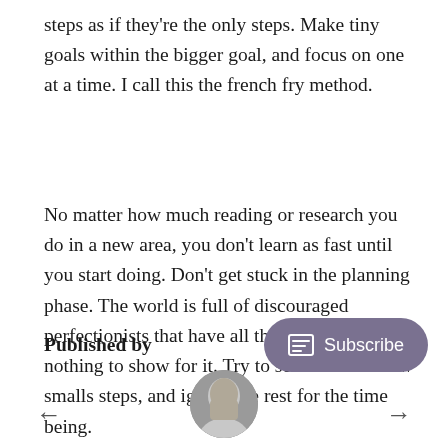steps as if they're the only steps. Make tiny goals within the bigger goal, and focus on one at a time. I call this the french fry method.
No matter how much reading or research you do in a new area, you don't learn as fast until you start doing. Don't get stuck in the planning phase. The world is full of discouraged perfectionists that have all the answers, but nothing to show for it. Try to set those first few smalls steps, and ignore the rest for the time being.
Published by
[Figure (photo): A circular avatar photo of a person]